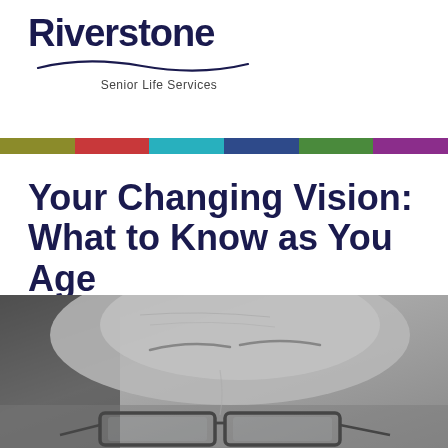[Figure (logo): Riverstone Senior Life Services logo with wave graphic underneath the text and tagline below]
Your Changing Vision: What to Know as You Age
October 25, 2021
[Figure (photo): Black and white close-up photo of an elderly person wearing glasses, showing the upper portion of the face]